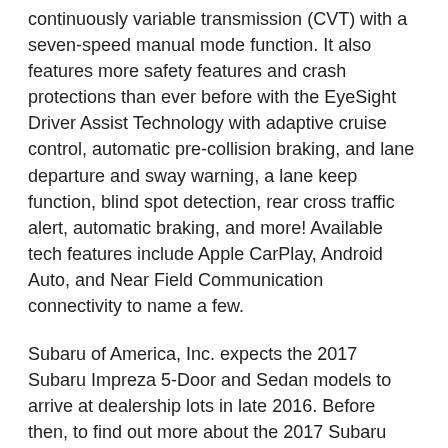continuously variable transmission (CVT) with a seven-speed manual mode function. It also features more safety features and crash protections than ever before with the EyeSight Driver Assist Technology with adaptive cruise control, automatic pre-collision braking, and lane departure and sway warning, a lane keep function, blind spot detection, rear cross traffic alert, automatic braking, and more! Available tech features include Apple CarPlay, Android Auto, and Near Field Communication connectivity to name a few.
Subaru of America, Inc. expects the 2017 Subaru Impreza 5-Door and Sedan models to arrive at dealership lots in late 2016. Before then, to find out more about the 2017 Subaru Impreza and our entire new Subaru lineup, head on down to your Subaru dealers near Lakewood, Lester Glenn Subaru, to speak to a member of our team today!